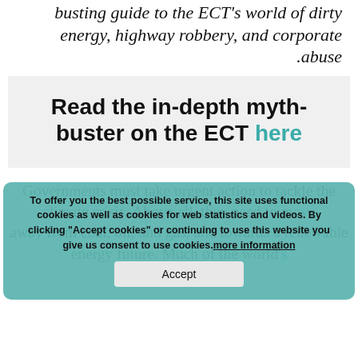busting guide to the ECT's world of dirty energy, highway robbery, and corporate abuse.
Read the in-depth myth-buster on the ECT here
To offer you the best possible service, this site uses functional cookies as well as cookies for web statistics and videos. By clicking "Accept cookies" or continuing to use this website you give us consent to use cookies. more information
Governments must take urgent action to tackle the climate crisis. Above all, they need to move away from coal, oil, and gas, and towards a renewable energy future. Much of the world's fossil fuel reserves need to stay in the ground if we